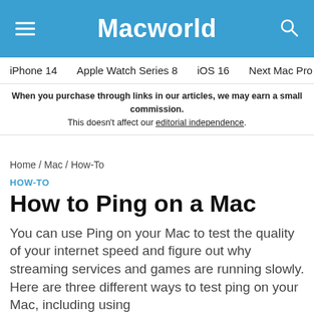Macworld
iPhone 14  Apple Watch Series 8  iOS 16  Next Mac Pro  iPhone d
When you purchase through links in our articles, we may earn a small commission. This doesn't affect our editorial independence.
Home / Mac / How-To
HOW-TO
How to Ping on a Mac
You can use Ping on your Mac to test the quality of your internet speed and figure out why streaming services and games are running slowly. Here are three different ways to test ping on your Mac, including using